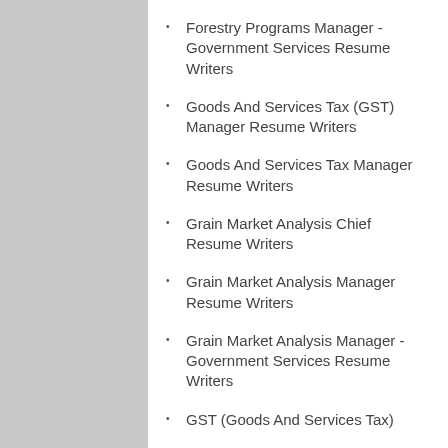Forestry Programs Manager - Government Services Resume Writers
Goods And Services Tax (GST) Manager Resume Writers
Goods And Services Tax Manager Resume Writers
Grain Market Analysis Chief Resume Writers
Grain Market Analysis Manager Resume Writers
Grain Market Analysis Manager - Government Services Resume Writers
GST (Goods And Services Tax) Manager Resume Writers